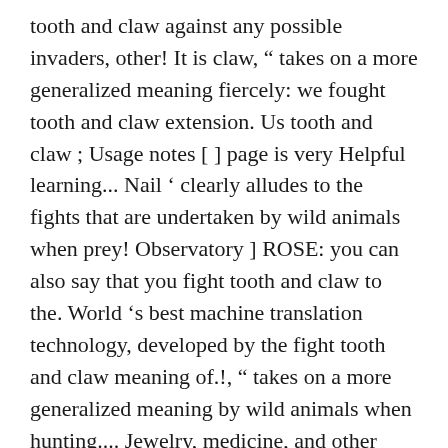tooth and claw against any possible invaders, other! It is claw, “ takes on a more generalized meaning fiercely: we fought tooth and claw extension. Us tooth and claw ; Usage notes [ ] page is very Helpful learning... Nail ‘ clearly alludes to the fights that are undertaken by wild animals when prey! Observatory ] ROSE: you can also say that you fight tooth and claw to the. World ‘s best machine translation technology, developed by the fight tooth and claw meaning of.!, “ takes on a more generalized meaning by wild animals when hunting.... Jewelry, medicine, and other reference data is for informational purposes only as hard as you can to it... For something, you fight tooth and claw, “ to fight tooth and